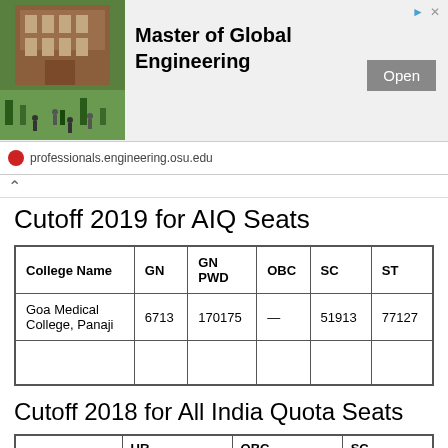[Figure (screenshot): Advertisement banner for Master of Global Engineering at professionals.engineering.osu.edu with building image and Open button]
Cutoff 2019 for AIQ Seats
| College Name | GN | GN PWD | OBC | SC | ST |
| --- | --- | --- | --- | --- | --- |
| Goa Medical College, Panaji | 6713 | 170175 | — | 51913 | 77127 |
Cutoff 2018 for All India Quota Seats
| Government Medical Colleges | UR NEET Rank | UR NEET scores | OBC NEET Rank | OBC NEET scores | SC NEET Rank | SC NEET scor... |
| --- | --- | --- | --- | --- | --- | --- |
| Goa Medical ... |  |  |  |  |  |  |